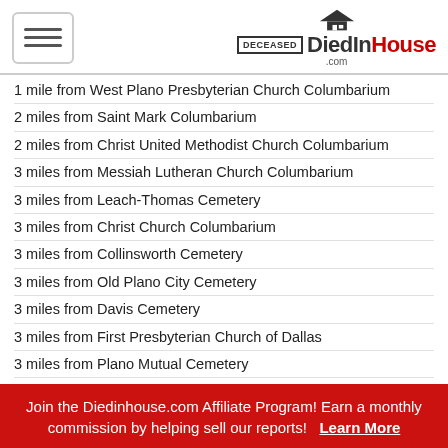DiedInHouse.com
1 mile from West Plano Presbyterian Church Columbarium
2 miles from Saint Mark Columbarium
2 miles from Christ United Methodist Church Columbarium
3 miles from Messiah Lutheran Church Columbarium
3 miles from Leach-Thomas Cemetery
3 miles from Christ Church Columbarium
3 miles from Collinsworth Cemetery
3 miles from Old Plano City Cemetery
3 miles from Davis Cemetery
3 miles from First Presbyterian Church of Dallas
3 miles from Plano Mutual Cemetery
3 miles from Church of the Holy Nativity Columbarium
3 miles from Bowman Cemetery
3 miles from [partially hidden] Columbarium
4 miles from Jacob Routh Family Cemetery
Join the Diedinhouse.com Affiliate Program! Earn a monthly commission by helping sell our reports! Learn More